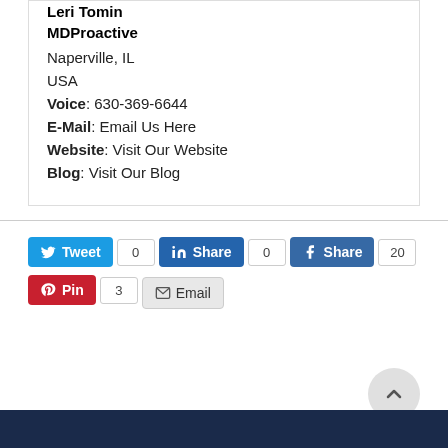Leri Tomin
MDProactive
Naperville, IL
USA
Voice: 630-369-6644
E-Mail: Email Us Here
Website: Visit Our Website
Blog: Visit Our Blog
[Figure (screenshot): Social share buttons: Tweet (0), Share on LinkedIn (0), Share on Facebook (20), Pin on Pinterest (3), Email button]
[Figure (other): Scroll-to-top circular button with upward chevron icon]
Dark navy footer bar